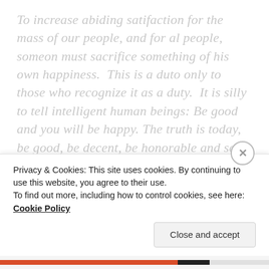To increase abiding satifaction for the mass of our people, and for al people, someon must sacrifice something of his own happiness.  This is a duto only to those who recognize it as a duty.  It is silly to tell intelligent human beings: Be good and you will be happy. The truth is today, be good, be decent, be honorable and self-sacrificing and you will not always be happy.  You will often be desperately unhappy.  You may even be crucified, dead, and buried and the third day you will be just as dead as the first.  But with the
Privacy & Cookies: This site uses cookies. By continuing to use this website, you agree to their use.
To find out more, including how to control cookies, see here: Cookie Policy
Close and accept